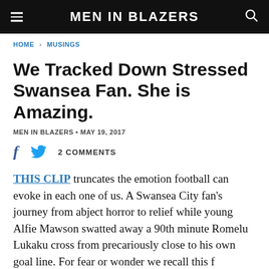MEN IN BLAZERS
HOME > MUSINGS
We Tracked Down Stressed Swansea Fan. She is Amazing.
MEN IN BLAZERS • MAY 19, 2017
2 COMMENTS
THIS CLIP truncates the emotion football can evoke in each one of us. A Swansea City fan's journey from abject horror to relief while young Alfie Mawson swatted away a 90th minute Romelu Lukaku cross from precariously close to his own goal line. For fear or wonder we recall this f